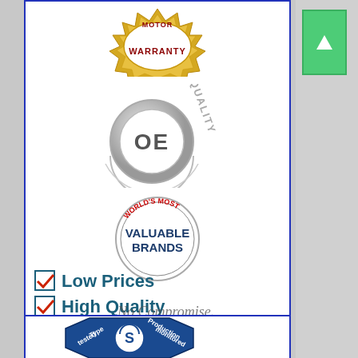[Figure (infographic): Top bordered blue box containing: a gold warranty badge at top, a silver 'Quality OE' circular badge in middle, a 'World's Most Valuable Brands' circular badge below that, then two checkbox items 'Low Prices' and 'High Quality' in dark teal bold text, and a cursive 'No Compromise.' tagline at bottom.]
[Figure (infographic): Bottom bordered blue box containing a blue octagonal Schunk/S brand badge showing 'Type tested', 'Production monitored', and a circular S logo in the center, with a product partially visible at the bottom.]
[Figure (illustration): Right side panel showing a gray texture area with a green scroll-up button at the top.]